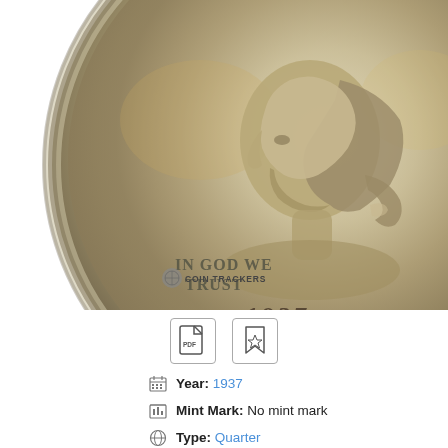[Figure (photo): Close-up photograph of the obverse (front) of a 1937 Washington Quarter coin. The coin shows George Washington's profile facing left, with the inscription 'IN GOD WE TRUST' on the left side and '1937' at the bottom. The coin has a silver metallic appearance with light golden toning. A 'COIN TRACKERS' watermark with a globe icon appears at the lower left of the image.]
Year: 1937
Mint Mark: No mint mark
Type: Quarter
Price: $12.00-$135.00+
Face Value: 0.25 USD
Produced: 19,696,000